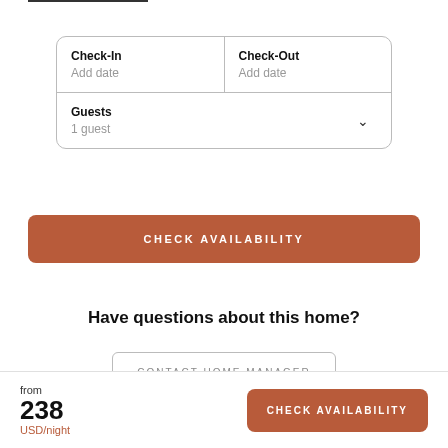| Check-In
Add date | Check-Out
Add date |
| Guests
1 guest |  |
CHECK AVAILABILITY
Have questions about this home?
CONTACT HOME MANAGER
from
238
USD/night
CHECK AVAILABILITY